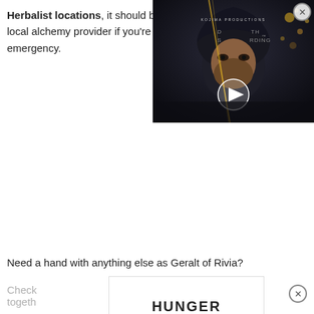Herbalist locations, it should be easy to find your local alchemy provider if you're ever run into an emergency.
[Figure (screenshot): Video overlay showing Death Stranding game promotional content with a play button in the center, featuring a hooded figure.]
Need a hand with anything else as Geralt of Rivia?
Check ... out together ... Witcher
[Figure (screenshot): Advertisement overlay showing partial text HUNGER in bold.]